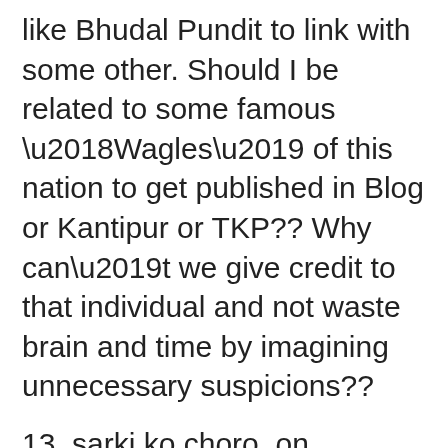like Bhudal Pundit to link with some other. Should I be related to some famous ‘Wagles’ of this nation to get published in Blog or Kantipur or TKP?? Why can’t we give credit to that individual and not waste brain and time by imagining unnecessary suspicions??
13. sarki ko choro, on November 27th, 2007 at 8:07 pm Said:
The sheer unability of